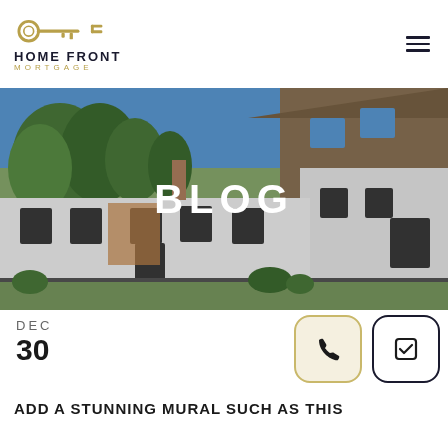HOME FRONT MORTGAGE
[Figure (photo): Hero photograph of a residential house with trees in the background and blue sky, with 'BLOG' text overlay in white bold letters centered on the image]
DEC
30
ADD A STUNNING MURAL SUCH AS THIS